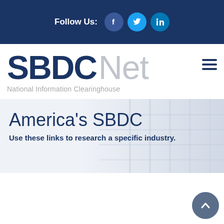Follow Us:
[Figure (logo): SBDCNet National Information Clearinghouse logo with hamburger menu icon]
America’s SBDC
Use these links to research a specific industry.